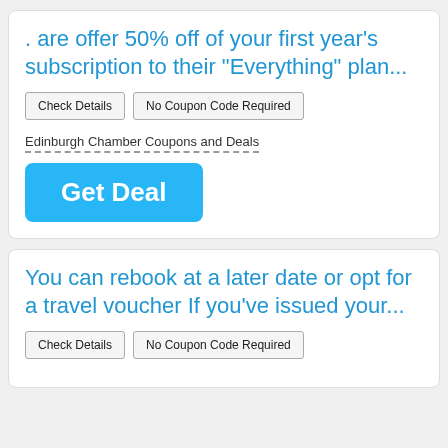. are offer 50% off of your first year’s subscription to their “Everything” plan...
Check Details | No Coupon Code Required
Edinburgh Chamber Coupons and Deals
Get Deal
You can rebook at a later date or opt for a travel voucher If you’ve issued your...
Check Details | No Coupon Code Required